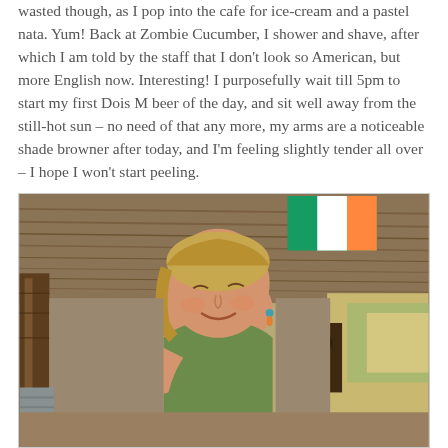wasted though, as I pop into the cafe for ice-cream and a pastel nata. Yum! Back at Zombie Cucumber, I shower and shave, after which I am told by the staff that I don't look so American, but more English now. Interesting! I purposefully wait till 5pm to start my first Dois M beer of the day, and sit well away from the still-hot sun – no need of that any more, my arms are a noticeable shade browner after today, and I'm feeling slightly tender all over – I hope I won't start peeling.
[Figure (photo): A smiling blonde woman wearing a green sleeveless top, photographed under a thatched roof structure with a green, white, and orange flag (Irish flag) visible in the background. The setting appears to be a tropical or beach bar/cafe.]